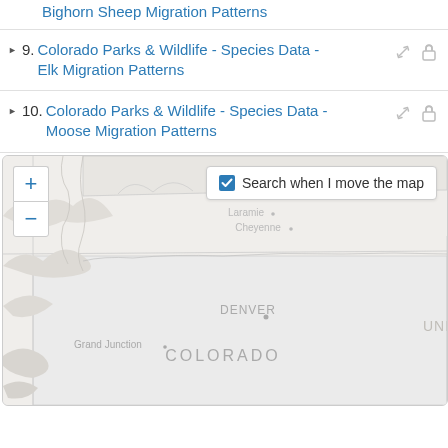Bighorn Sheep Migration Patterns
9. Colorado Parks & Wildlife - Species Data - Elk Migration Patterns
10. Colorado Parks & Wildlife - Species Data - Moose Migration Patterns
[Figure (map): Interactive web map showing Colorado and surrounding states including Wyoming (Laramie, Cheyenne), Denver, Grand Junction, with zoom controls (+/-) and a 'Search when I move the map' checkbox overlay. The map shows state boundaries on a light gray background.]